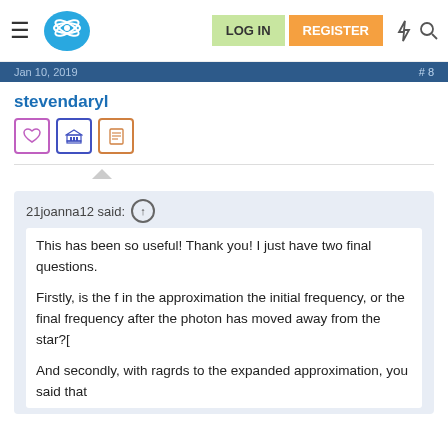Navigation bar with logo, LOG IN, REGISTER buttons
Jan 10, 2019   #8
stevendaryl
[Figure (illustration): Three icon buttons: heart (purple outline), bank/institution (blue outline), document (orange outline)]
21joanna12 said: ↑
This has been so useful! Thank you! I just have two final questions.

Firstly, is the f in the approximation the initial frequency, or the final frequency after the photon has moved away from the star?[

And secondly, with ragrds to the expanded approximation, you said that